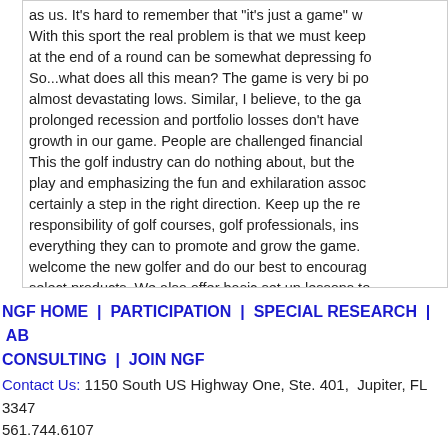as us. It's hard to remember that "it's just a game" w... With this sport the real problem is that we must keep at the end of a round can be somewhat depressing fo... So...what does all this mean? The game is very bi po... almost devastating lows. Similar, I believe, to the ga... prolonged recession and portfolio losses don't have growth in our game. People are challenged financial... This the golf industry can do nothing about, but the play and emphasizing the fun and exhilaration assoc... certainly a step in the right direction. Keep up the re... responsibility of golf courses, golf professionals, ins... everything they can to promote and grow the game. welcome the new golfer and do our best to encourag... select products. We also offer basic set up lessons to encourage them to seek competent instruction to inc... great game.
22 April, 2014 05:57PM
NGF HOME  |  PARTICIPATION  |  SPECIAL RESEARCH  |  AB... CONSULTING  |  JOIN NGF
Contact Us: 1150 South US Highway One, Ste. 401, Jupiter, FL  3347... 561.744.6107
Published by VCT